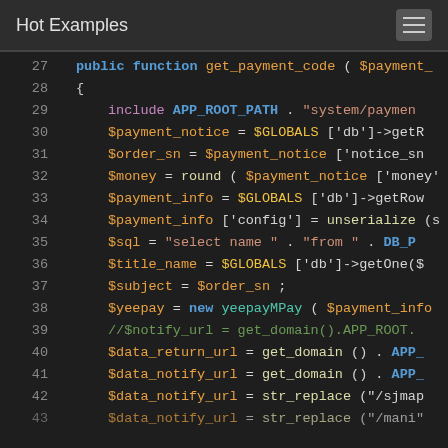Hot Examples
[Figure (screenshot): Code editor screenshot showing PHP code lines 27-43 with syntax highlighting. public function get_payment_code, include APP_ROOT_PATH, variable assignments for $payment_notice, $order_sn, $money, $payment_info, $sql, $title_name, $subject, $yeepay, URL variables, and str_replace calls.]